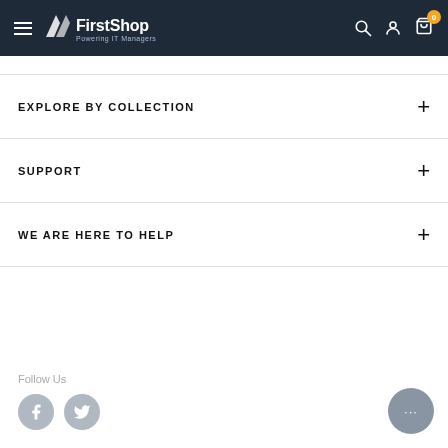FirstShop — Powering IT Managers
EXPLORE BY COLLECTION
SUPPORT
WE ARE HERE TO HELP
Follow Us
[Figure (other): Facebook and Twitter social media icon buttons (grey circles)]
[Figure (other): Live chat widget button with ellipsis (…) icon]